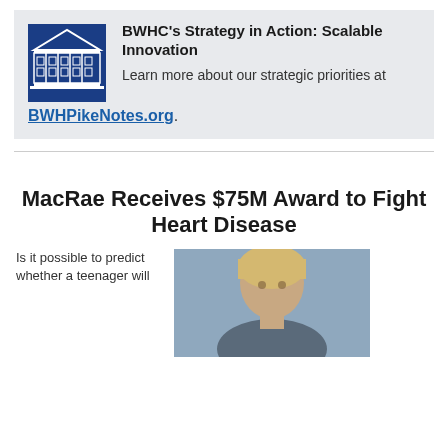[Figure (logo): BWHC building/institution logo — white line-art of a classical building facade on dark blue background]
BWHC's Strategy in Action: Scalable Innovation
Learn more about our strategic priorities at BWHPikeNotes.org.
MacRae Receives $75M Award to Fight Heart Disease
Is it possible to predict whether a teenager will
[Figure (photo): Portrait photo of a person (MacRae) with blonde/light hair against a blue-grey background]